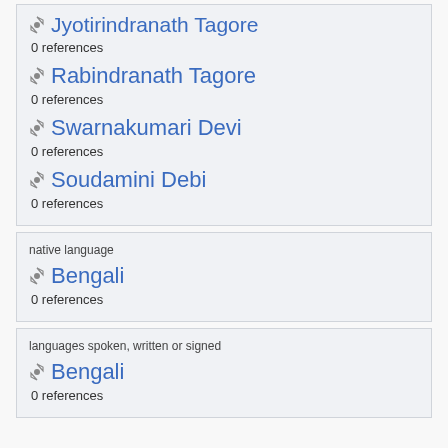Jyotirindranath Tagore
0 references
Rabindranath Tagore
0 references
Swarnakumari Devi
0 references
Soudamini Debi
0 references
native language
Bengali
0 references
languages spoken, written or signed
Bengali
0 references